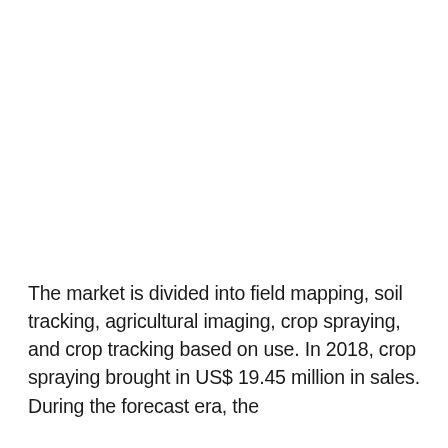The market is divided into field mapping, soil tracking, agricultural imaging, crop spraying, and crop tracking based on use. In 2018, crop spraying brought in US$ 19.45 million in sales. During the forecast era, the